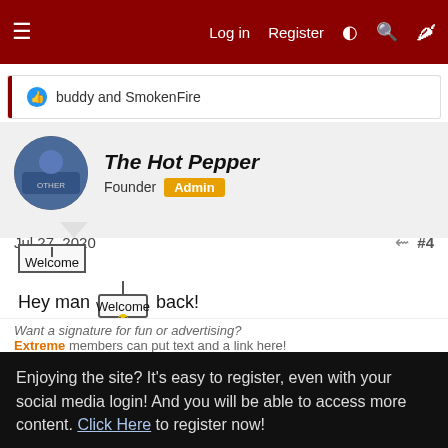Log in  Register
buddy and SmokenFire
The Hot Pepper
Founder  Admin
Jul 27, 2020  #4
Hey man [Welcome] back!
Want a signature for fun or advertising?
Extreme members can put text and a link here!
Extreme Biz members can put text, a link, and an image!
Upgrade Now!
Enjoying the site? It's easy to register, even with your social media login! And you will be able to access more content. Click Here to register now!